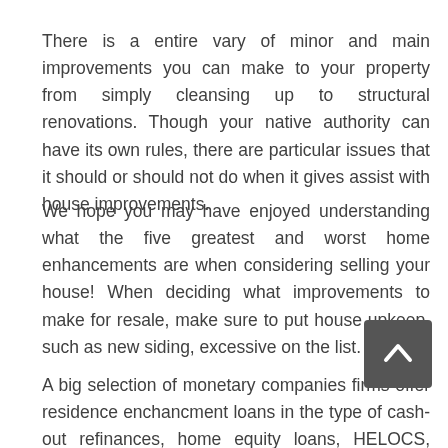There is a entire vary of minor and main improvements you can make to your property from simply cleansing up to structural renovations. Though your native authority can have its own rules, there are particular issues that it should or should not do when it gives assist with house improvements.
We hope you may have enjoyed understanding what the five greatest and worst home enhancements are when considering selling your house! When deciding what improvements to make for resale, make sure to put house upkeep, such as new siding, excessive on the list.
A big selection of monetary companies firms offer residence enchancment loans in the type of cash-out refinances, home equity loans, HELOCS, private loans and private strains of credit, including